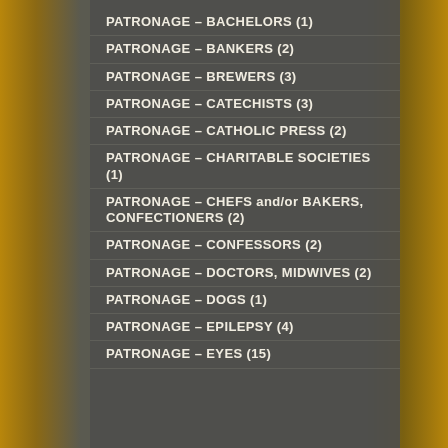PATRONAGE – BACHELORS (1)
PATRONAGE – BANKERS (2)
PATRONAGE – BREWERS (3)
PATRONAGE – CATECHISTS (3)
PATRONAGE – CATHOLIC PRESS (2)
PATRONAGE – CHARITABLE SOCIETIES (1)
PATRONAGE – CHEFS and/or BAKERS, CONFECTIONERS (2)
PATRONAGE – CONFESSORS (2)
PATRONAGE – DOCTORS, MIDWIVES (2)
PATRONAGE – DOGS (1)
PATRONAGE – EPILEPSY (4)
PATRONAGE – EYES (15)